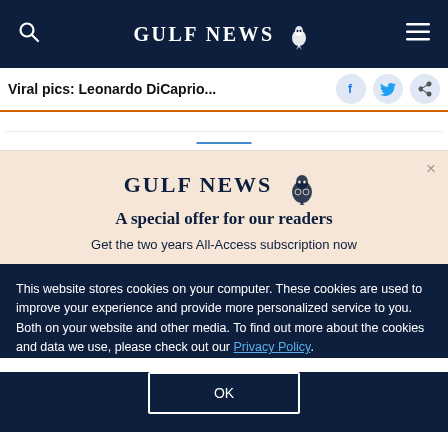GULF NEWS
Viral pics: Leonardo DiCaprio...
[Figure (screenshot): Partial webpage content area with blue underline element]
A special offer for our readers
Get the two years All-Access subscription now
This website stores cookies on your computer. These cookies are used to improve your experience and provide more personalized service to you. Both on your website and other media. To find out more about the cookies and data we use, please check out our Privacy Policy.
OK